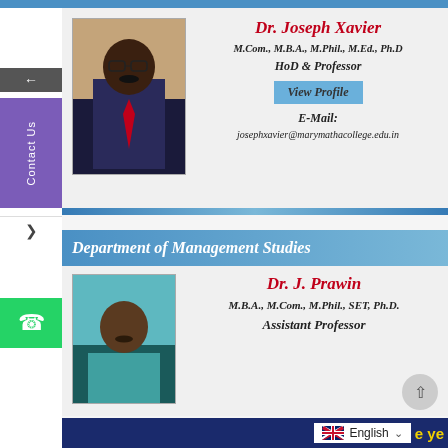Dr. Joseph Xavier
M.Com., M.B.A., M.Phil., M.Ed., Ph.D
HoD & Professor
View Profile
E-Mail:
josephxavier@marymathacollege.edu.in
Department of Management Studies
Dr. J. Prawin
M.B.A., M.Com., M.Phil., SET, Ph.D.
Assistant Professor
English